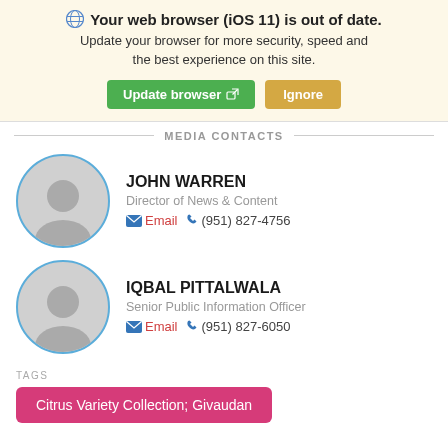🌐 Your web browser (iOS 11) is out of date. Update your browser for more security, speed and the best experience on this site.
Update browser ↗  Ignore
MEDIA CONTACTS
JOHN WARREN
Director of News & Content
Email  (951) 827-4756
IQBAL PITTALWALA
Senior Public Information Officer
Email  (951) 827-6050
TAGS
Citrus Variety Collection; Givaudan